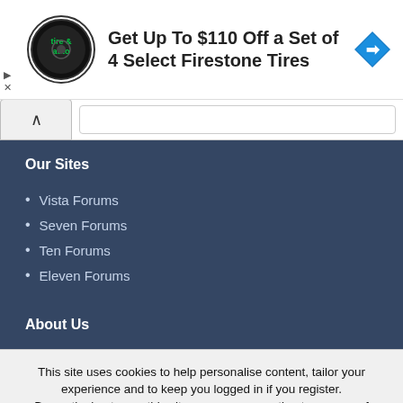[Figure (infographic): Advertisement banner: Firestone tire and auto logo (circular black and white logo), heading text 'Get Up To $110 Off a Set of 4 Select Firestone Tires', blue diamond navigation icon on the right, and small play/close controls on the left.]
Our Sites
Vista Forums
Seven Forums
Ten Forums
Eleven Forums
About Us
This site uses cookies to help personalise content, tailor your experience and to keep you logged in if you register.
By continuing to use this site, you are consenting to our use of cookies.